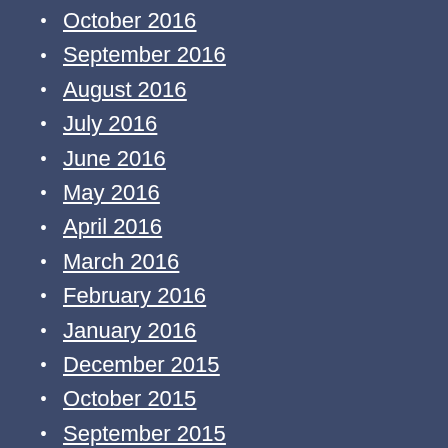October 2016
September 2016
August 2016
July 2016
June 2016
May 2016
April 2016
March 2016
February 2016
January 2016
December 2015
October 2015
September 2015
August 2015
July 2015
May 2015